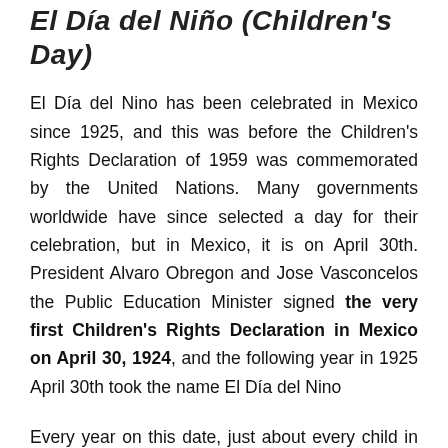El Día del Niño (Children's Day)
El Día del Nino has been celebrated in Mexico since 1925, and this was before the Children's Rights Declaration of 1959 was commemorated by the United Nations. Many governments worldwide have since selected a day for their celebration, but in Mexico, it is on April 30th. President Alvaro Obregon and Jose Vasconcelos the Public Education Minister signed the very first Children's Rights Declaration in Mexico on April 30, 1924, and the following year in 1925 April 30th took the name El Día del Nino
Every year on this date, just about every child in Mexico will receive gifts from their parents and family members as it as special as Christmas is in the United States. The celebrations carry on at school, because